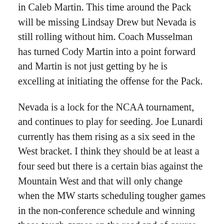in Caleb Martin. This time around the Pack will be missing Lindsay Drew but Nevada is still rolling without him. Coach Musselman has turned Cody Martin into a point forward and Martin is not just getting by he is excelling at initiating the offense for the Pack.
Nevada is a lock for the NCAA tournament, and continues to play for seeding. Joe Lunardi currently has them rising as a six seed in the West bracket. I think they should be at least a four seed but there is a certain bias against the Mountain West and that will only change when the MW starts scheduling tougher games in the non-conference schedule and winning those tough games on the road and of course advancing past the first day in the NCAA Tournament.
Three keys for Wolf Pack to win in Las Vegas:
1. Nevada has to dominate in the battle of the